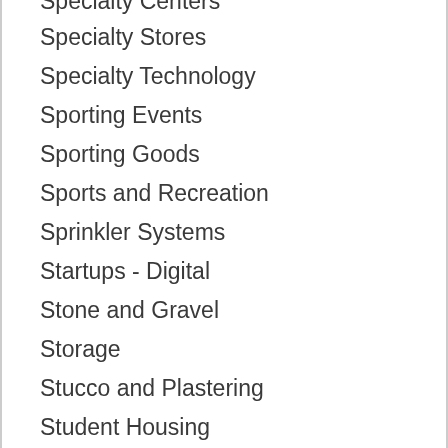Specialty Centers (partial, cut off at top)
Specialty Stores
Specialty Technology
Sporting Events
Sporting Goods
Sports and Recreation
Sprinkler Systems
Startups - Digital
Stone and Gravel
Storage
Stucco and Plastering
Student Housing
Stump Removal
Sunrooms
Tailors and Seamstresses
Tanning (partial, cut off at bottom)